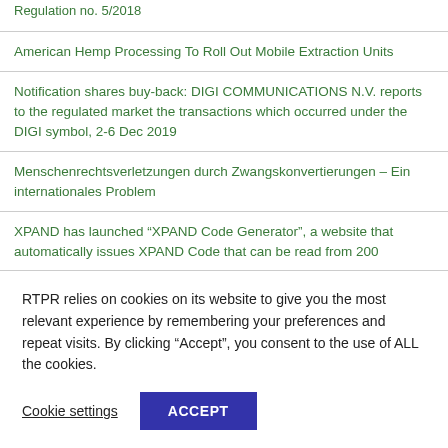Regulation no. 5/2018
American Hemp Processing To Roll Out Mobile Extraction Units
Notification shares buy-back: DIGI COMMUNICATIONS N.V. reports to the regulated market the transactions which occurred under the DIGI symbol, 2-6 Dec 2019
Menschenrechtsverletzungen durch Zwangskonvertierungen – Ein internationales Problem
XPAND has launched “XPAND Code Generator”, a website that automatically issues XPAND Code that can be read from 200…
RTPR relies on cookies on its website to give you the most relevant experience by remembering your preferences and repeat visits. By clicking “Accept”, you consent to the use of ALL the cookies.
Cookie settings
ACCEPT